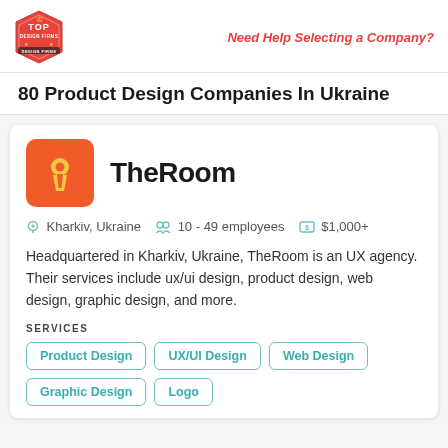Need Help Selecting a Company?
80 Product Design Companies In Ukraine
TheRoom
Kharkiv, Ukraine   10 - 49 employees   $1,000+
Headquartered in Kharkiv, Ukraine, TheRoom is an UX agency. Their services include ux/ui design, product design, web design, graphic design, and more.
SERVICES
Product Design
UX/UI Design
Web Design
Graphic Design
Logo